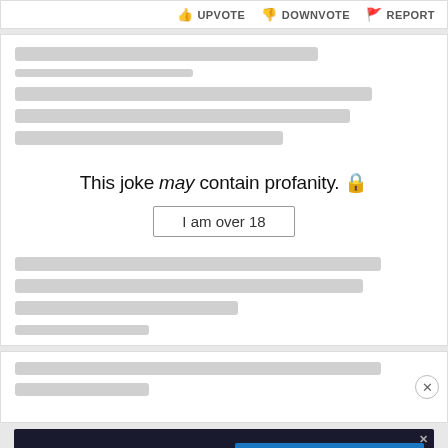UPVOTE  DOWNVOTE  REPORT
This joke may contain profanity. 🔒
I am over 18
[Figure (screenshot): Advertisement banner for Disney Bundle featuring Hulu, Disney+, ESPN+ logos and a blue CTA button reading GET THE DISNEY BUNDLE]
I am over 18